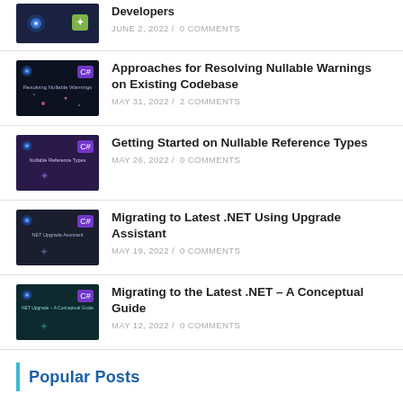Developers — JUNE 2, 2022 / 0 COMMENTS
[Figure (screenshot): Dark blue thumbnail with star/light icons for blog post]
Approaches for Resolving Nullable Warnings on Existing Codebase — MAY 31, 2022 / 2 COMMENTS
[Figure (screenshot): Dark thumbnail with text 'Resolving Nullable Warnings']
Getting Started on Nullable Reference Types — MAY 26, 2022 / 0 COMMENTS
[Figure (screenshot): Dark purple thumbnail with text 'Nullable Reference Types']
Migrating to Latest .NET Using Upgrade Assistant — MAY 19, 2022 / 0 COMMENTS
[Figure (screenshot): Dark thumbnail with text 'NET Upgrade Assistant']
Migrating to the Latest .NET – A Conceptual Guide — MAY 12, 2022 / 0 COMMENTS
[Figure (screenshot): Dark teal thumbnail with text 'NET Upgrade – A Conceptual Guide']
Popular Posts